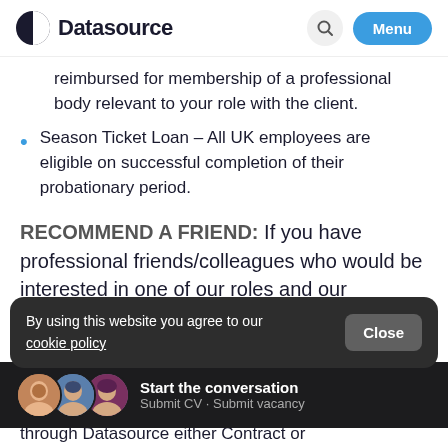[Figure (logo): Datasource logo with half-circle icon and bold text]
reimbursed for membership of a professional body relevant to your role with the client.
Season Ticket Loan – All UK employees are eligible on successful completion of their probationary period.
RECOMMEND A FRIEND: If you have professional friends/colleagues who would be interested in one of our roles and our
By using this website you agree to our cookie policy
Start the conversation
Submit CV · Submit vacancy
through Datasource either Contract or